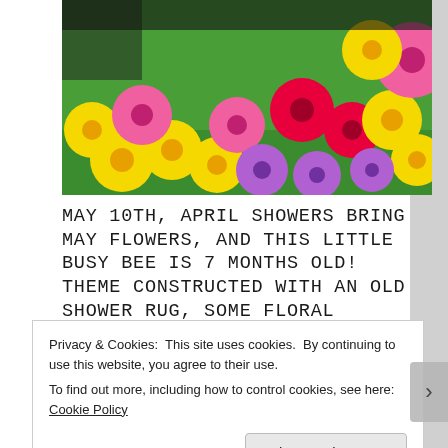[Figure (photo): Colorful flowers — yellow, pink, red, and purple daisies/gerberas — arranged on a green surface/grass background]
MAY 10TH, APRIL SHOWERS BRING MAY FLOWERS, AND THIS LITTLE BUSY BEE IS 7 MONTHS OLD! THEME CONSTRUCTED WITH AN OLD SHOWER RUG, SOME FLORAL ARRANGEMENTS FROM THE DOLLAR TREE, BLUE SHEET AND CONSTRUCTION PAPER.
[Figure (photo): Dark/black background photo, partially visible at bottom]
Privacy & Cookies: This site uses cookies. By continuing to use this website, you agree to their use.
To find out more, including how to control cookies, see here: Cookie Policy
Close and accept